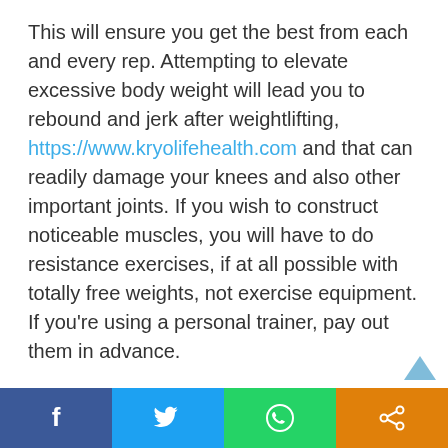This will ensure you get the best from each and every rep. Attempting to elevate excessive body weight will lead you to rebound and jerk after weightlifting, https://www.kryolifehealth.com and that can readily damage your knees and also other important joints. If you wish to construct noticeable muscles, you will have to do resistance exercises, if at all possible with totally free weights, not exercise equipment. If you're using a personal trainer, pay out them in advance.
Facebook | Twitter | WhatsApp | Share